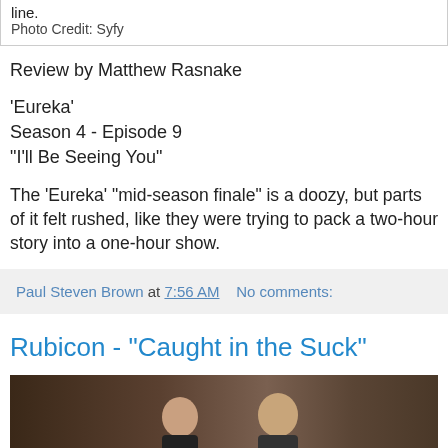line.
Photo Credit: Syfy
Review by Matthew Rasnake
'Eureka'
Season 4 - Episode 9
"I'll Be Seeing You"
The 'Eureka' "mid-season finale" is a doozy, but parts of it felt rushed, like they were trying to pack a two-hour story into a one-hour show.
Paul Steven Brown at 7:56 AM   No comments:
Rubicon - "Caught in the Suck"
[Figure (photo): Two people photographed together, dark moody background]